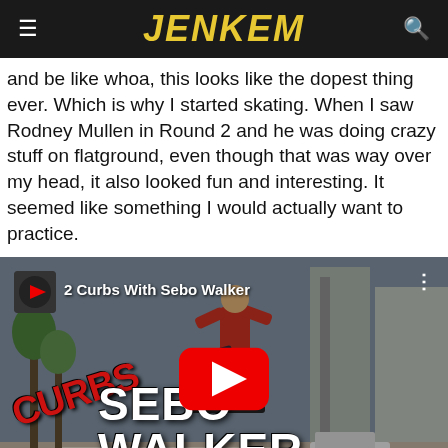JENKEM
and be like whoa, this looks like the dopest thing ever. Which is why I started skating. When I saw Rodney Mullen in Round 2 and he was doing crazy stuff on flatground, even though that was way over my head, it also looked fun and interesting. It seemed like something I would actually want to practice.
[Figure (screenshot): YouTube video thumbnail for '2 Curbs With Sebo Walker' — a skateboarder mid-air over a curb in an urban setting, with the YouTube play button overlay, video title, and 'SEBO WALKER' text superimposed on the image.]